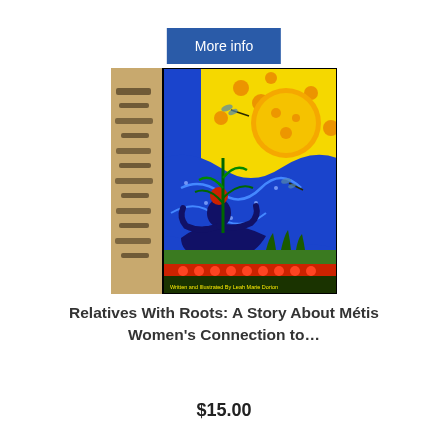More info
[Figure (illustration): Colorful folk-art style book cover illustration showing an Indigenous woman sitting and holding a plant with a large yellow sun, dragonflies, swirling blue patterns, birch tree, flowers, and the text 'Written and Illustrated By Leah Marie Dorion']
Relatives With Roots: A Story About Métis Women's Connection to…
$15.00